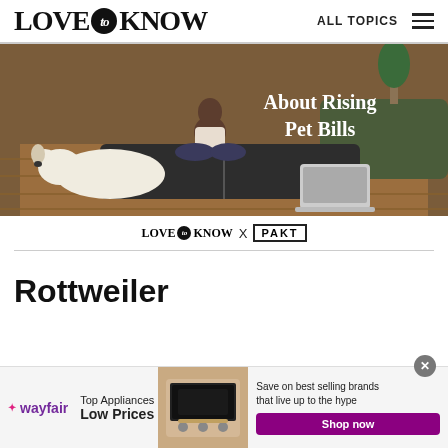LOVE to KNOW   ALL TOPICS
[Figure (photo): Person sitting cross-legged on yoga mat with white dog lying beside them, laptop open nearby, indoor setting. Overlay text reads: About Rising Pet Bills]
LOVE to KNOW x PAKT
Rottweiler
[Figure (photo): Wayfair advertisement banner: Top Appliances Low Prices. Image of stove/range appliance. Text: Save on best selling brands that live up to the hype. Shop now button.]